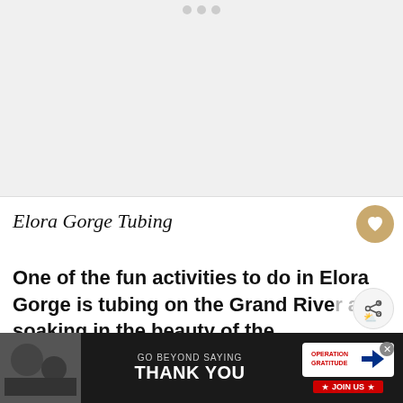[Figure (photo): Placeholder image area with light gray background and three gray dots at top, representing a photo carousel]
Elora Gorge Tubing
One of the fun activities to do in Elora Gorge is tubing on the Grand River and soaking in the beauty of the conservation area and its towering cliffs...
[Figure (screenshot): WHAT'S NEXT panel showing Peterborough Lift Lock...]
[Figure (photo): Advertisement banner: GO BEYOND SAYING THANK YOU — Operation Gratitude, JOIN US]